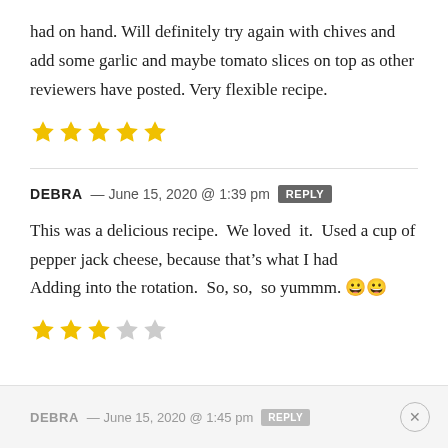had on hand. Will definitely try again with chives and add some garlic and maybe tomato slices on top as other reviewers have posted. Very flexible recipe.
[Figure (other): 5 filled yellow stars rating]
DEBRA — June 15, 2020 @ 1:39 pm  REPLY
This was a delicious recipe.  We loved  it.  Used a cup of pepper jack cheese, because that’s what I had Adding into the rotation.  So, so,  so yummm. 😀😀
[Figure (other): 3 filled yellow stars and 2 empty stars rating]
DEBRA — June 15, 2020 @ 1:45 pm  REPLY